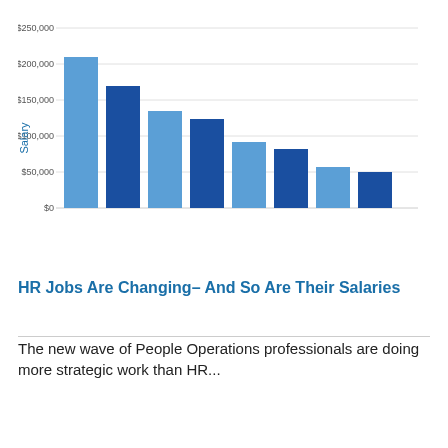[Figure (bar-chart): ]
HR Jobs Are Changing– And So Are Their Salaries
The new wave of People Operations professionals are doing more strategic work than HR...